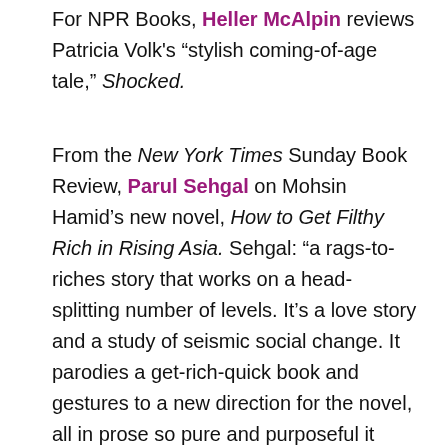For NPR Books, Heller McAlpin reviews Patricia Volk's “stylish coming-of-age tale,” Shocked.
From the New York Times Sunday Book Review, Parul Sehgal on Mohsin Hamid’s new novel, How to Get Filthy Rich in Rising Asia. Sehgal: “a rags-to-riches story that works on a head-splitting number of levels. It’s a love story and a study of seismic social change. It parodies a get-rich-quick book and gestures to a new direction for the novel, all in prose so pure and purposeful it passes straight into the bloodstream. It intoxicates.”